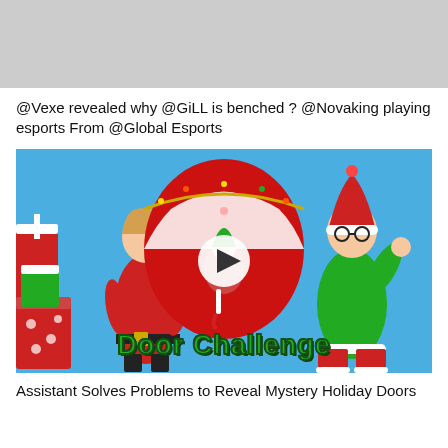[Figure (photo): Top portion of a partially visible image with gray/light background, cropped at top of page]
@Vexe revealed why @GiLL is benched ? @Novaking playing esports From @Global Esports
[Figure (photo): Thumbnail image showing two people in Christmas costumes (a girl in red Santa outfit and a person in green Grinch/elf costume) flanking a large red door decoration with an elf figure. Text 'Door Challenge' in green at the bottom. A play button overlay in the center.]
Assistant Solves Problems to Reveal Mystery Holiday Doors